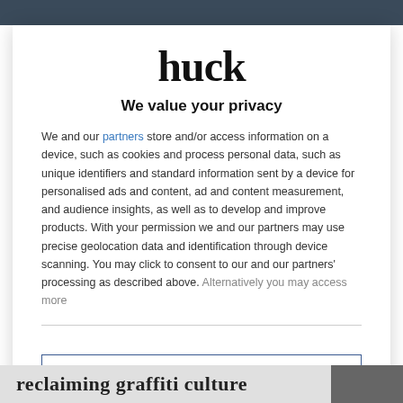huck
We value your privacy
We and our partners store and/or access information on a device, such as cookies and process personal data, such as unique identifiers and standard information sent by a device for personalised ads and content, ad and content measurement, and audience insights, as well as to develop and improve products. With your permission we and our partners may use precise geolocation data and identification through device scanning. You may click to consent to our and our partners' processing as described above. Alternatively you may access more
AGREE
MORE OPTIONS
reclaiming graffiti culture